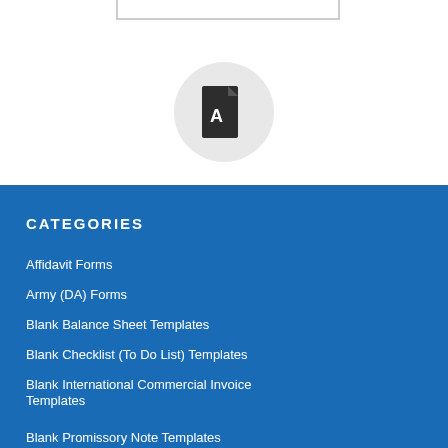[Figure (illustration): PDF file icon centered in a light gray circle, with a partial bordered box at the top edge]
CATEGORIES
Affidavit Forms
Army (DA) Forms
Blank Balance Sheet Templates
Blank Checklist (To Do List) Templates
Blank International Commercial Invoice Templates
Blank Promissory Note Templates